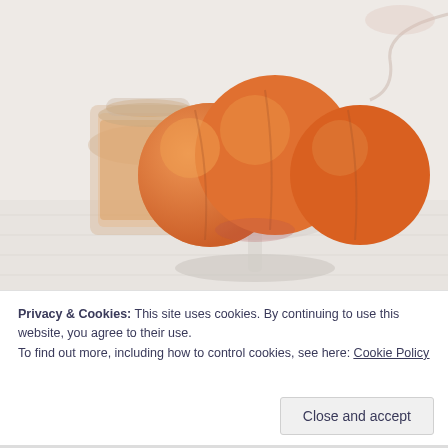[Figure (photo): Photo of peaches in a clear glass pedestal bowl/dish on a white surface, with a glass jar of peach-colored liquid (likely peach juice or drink) in the background left, and a wine glass partially visible in the upper right. Light, airy styling with white background.]
Privacy & Cookies: This site uses cookies. By continuing to use this website, you agree to their use.
To find out more, including how to control cookies, see here: Cookie Policy
Close and accept